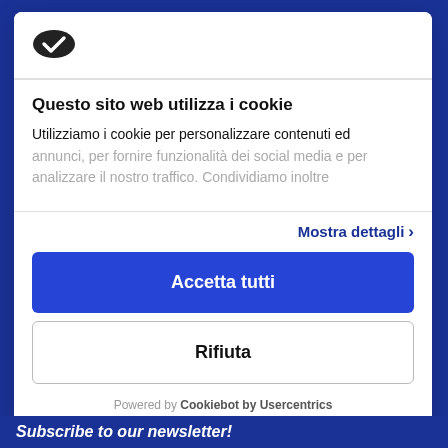[Figure (logo): Cookiebot logo - dark oval shape with checkmark]
Questo sito web utilizza i cookie
Utilizziamo i cookie per personalizzare contenuti ed annunci, per fornire funzionalità dei social media e per analizzare il nostro traffico. Condividiamo inoltre
Mostra dettagli >
Accetta tutti
Rifiuta
Powered by Cookiebot by Usercentrics
Subscribe to our newsletter!